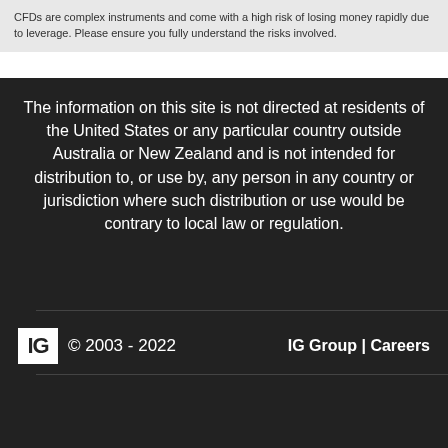CFDs are complex instruments and come with a high risk of losing money rapidly due to leverage. Please ensure you fully understand the risks involved.
The information on this site is not directed at residents of the United States or any particular country outside Australia or New Zealand and is not intended for distribution to, or use by, any person in any country or jurisdiction where such distribution or use would be contrary to local law or regulation.
IG  © 2003 - 2022  IG Group | Careers